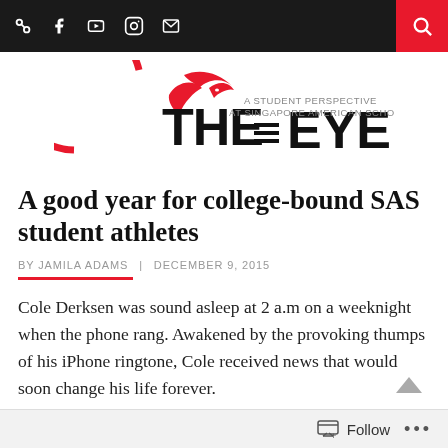Navigation bar with social icons and search button
[Figure (logo): The Eye logo - A Student Perspective at Singapore American School, with red eagle graphic]
A good year for college-bound SAS student athletes
BY JAMILA ADAMS | DECEMBER 9, 2015
Cole Derksen was sound asleep at 2 a.m on a weeknight when the phone rang. Awakened by the provoking thumps of his iPhone ringtone, Cole received news that would soon change his life forever.
Follow ...